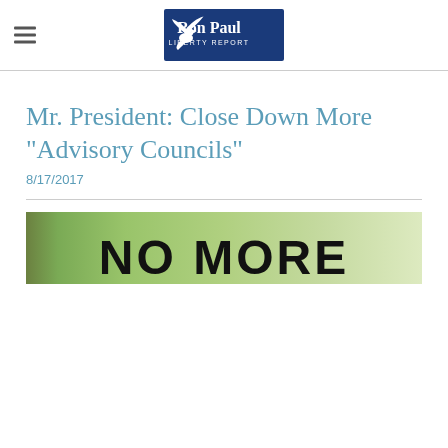Ron Paul Liberty Report
Mr. President: Close Down More "Advisory Councils"
8/17/2017
[Figure (photo): Protest sign on green background reading NO MORE in large black letters]